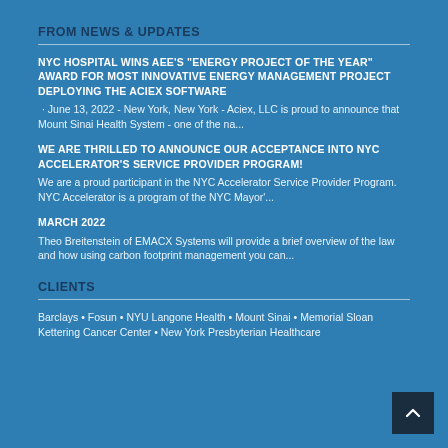FROM NEWS & UPDATES
NYC HOSPITAL WINS AEE'S “ENERGY PROJECT OF THE YEAR” AWARD FOR MOST INNOVATIVE ENERGY MANAGEMENT PROJECT DEPLOYING THE ACIEX SOFTWARE
June 13, 2022 - New York, New York - Aciex, LLC is proud to announce that Mount Sinai Health System - one of the na...
WE ARE THRILLED TO ANNOUNCE OUR ACCEPTANCE INTO NYC ACCELERATOR’S SERVICE PROVIDER PROGRAM!
We are a proud participant in the NYC Accelerator Service Provider Program. NYC Accelerator is a program of the NYC Mayor'...
MARCH 2022
Theo Breitenstein of EMACX Systems will provide a brief overview of the law and how using carbon footprint management you can...
CLIENTS
Barclays • Fosun • NYU Langone Health • Mount Sinai • Memorial Sloan Kettering Cancer Center • New York Presbyterian Healthcare